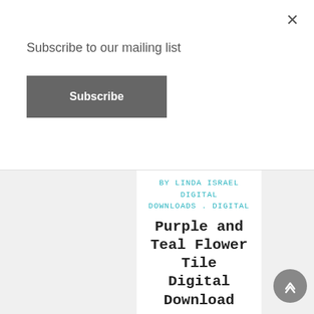Subscribe to our mailing list
Subscribe
BY LINDA ISRAEL DIGITAL DOWNLOADS . DIGITAL
Purple and Teal Flower Tile Digital Download
Two files are included in this download.
11 x 8.5 Purple and Teal Flower Tile Digital download
8.213 x 5.32 Small Purple and Teal Flower Tile